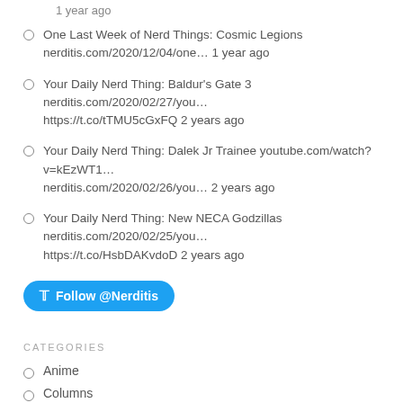1 year ago
One Last Week of Nerd Things: Cosmic Legions nerditis.com/2020/12/04/one… 1 year ago
Your Daily Nerd Thing: Baldur's Gate 3 nerditis.com/2020/02/27/you… https://t.co/tTMU5cGxFQ 2 years ago
Your Daily Nerd Thing: Dalek Jr Trainee youtube.com/watch?v=kEzWT1… nerditis.com/2020/02/26/you… 2 years ago
Your Daily Nerd Thing: New NECA Godzillas nerditis.com/2020/02/25/you… https://t.co/HsbDAKvdoD 2 years ago
Follow @Nerditis
CATEGORIES
Anime
Columns
A life's journey through comics